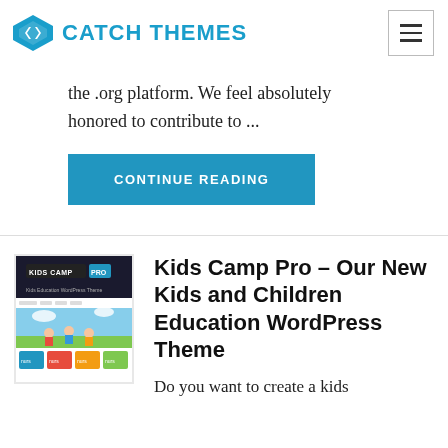CATCH THEMES
the .org platform. We feel absolutely honored to contribute to ...
CONTINUE READING
Kids Camp Pro – Our New Kids and Children Education WordPress Theme
[Figure (screenshot): Kids Camp Pro WordPress theme preview showing a kids education website with cartoon children characters]
Do you want to create a kids